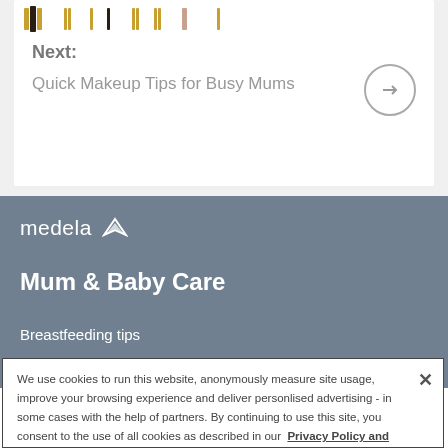[Figure (screenshot): Makeup product icons row with colored bars representing various makeup items]
Next:
Quick Makeup Tips for Busy Mums
[Figure (logo): Medela logo with icon]
Mum & Baby Care
Breastfeeding tips
We use cookies to run this website, anonymously measure site usage, improve your browsing experience and deliver personlised advertising - in some cases with the help of partners. By continuing to use this site, you consent to the use of all cookies as described in our Privacy Policy and Cookie Policy.
Manual Cookie Selection